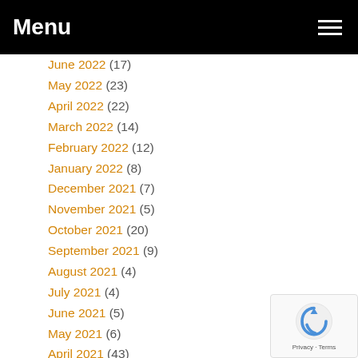Menu
June 2022 (17)
May 2022 (23)
April 2022 (22)
March 2022 (14)
February 2022 (12)
January 2022 (8)
December 2021 (7)
November 2021 (5)
October 2021 (20)
September 2021 (9)
August 2021 (4)
July 2021 (4)
June 2021 (5)
May 2021 (6)
April 2021 (43)
March 2021 (58)
February 2021 (58)
January 2021 (61)
December 2020 (74)